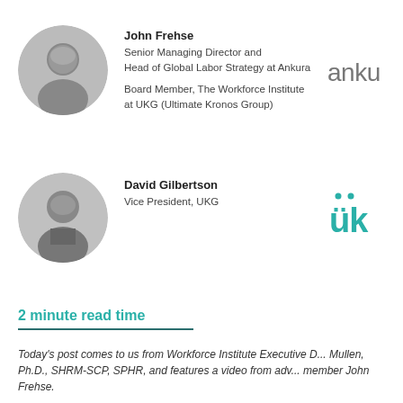[Figure (photo): Circular headshot of John Frehse, a bald man in a suit, black and white photo]
John Frehse
Senior Managing Director and Head of Global Labor Strategy at Ankura

Board Member, The Workforce Institute at UKG (Ultimate Kronos Group)
[Figure (logo): Ankura company logo text in dark gray]
[Figure (photo): Circular headshot of David Gilbertson, a young man in a suit, black and white photo]
David Gilbertson
Vice President, UKG
[Figure (logo): UKG logo in teal/green color with two dots above U and K]
2 minute read time
Today's post comes to us from Workforce Institute Executive D... Mullen, Ph.D., SHRM-SCP, SPHR, and features a video from adv... member John Frehse.